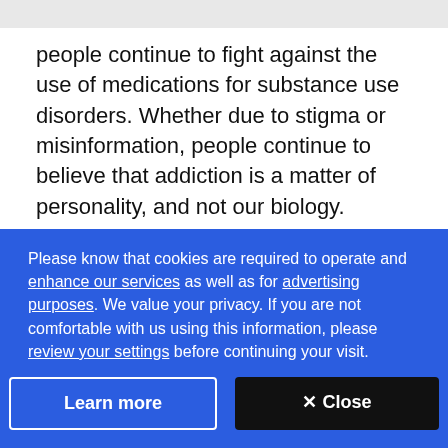people continue to fight against the use of medications for substance use disorders. Whether due to stigma or misinformation, people continue to believe that addiction is a matter of personality, and not our biology.
Treating chronic mental illness
Please know that cookies are required to operate and enhance our services as well as for advertising purposes. We value your privacy. If you are not comfortable with us using this information, please review your settings before continuing your visit.